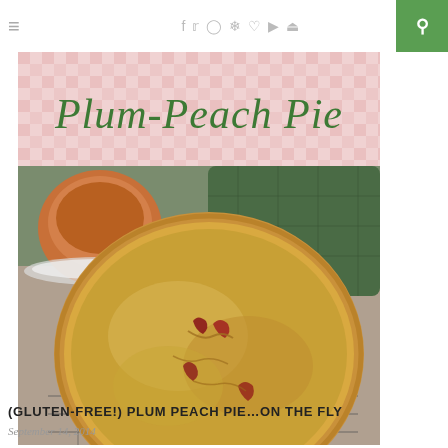≡  f  t  ⊙  P  ♥  ▶  ⊕  🔍
[Figure (photo): A food blog article image showing a Plum-Peach Pie recipe. The top portion has a pink gingham checkered background with handwritten-style green text reading 'Plum-Peach Pie'. Below is a photograph of a golden-brown pie cooling on a wire rack, with a cracked top crust revealing red/purple fruit filling, a cup of tea and a green quilted pot holder visible in the background.]
(GLUTEN-FREE!) PLUM PEACH PIE…ON THE FLY
September 14, 2014